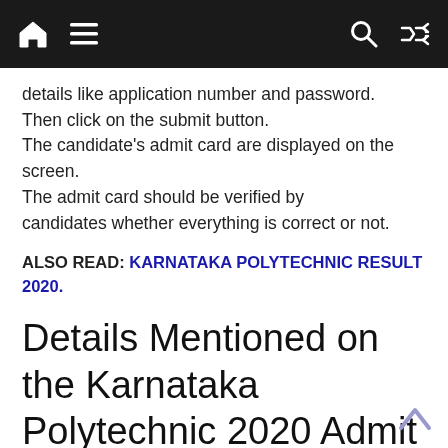Navigation bar with home, menu, search, and shuffle icons
details like application number and password. Then click on the submit button. The candidate's admit card are displayed on the screen. The admit card should be verified by candidates whether everything is correct or not.
ALSO READ: KARNATAKA POLYTECHNIC RESULT 2020.
Details Mentioned on the Karnataka Polytechnic 2020 Admit Card: